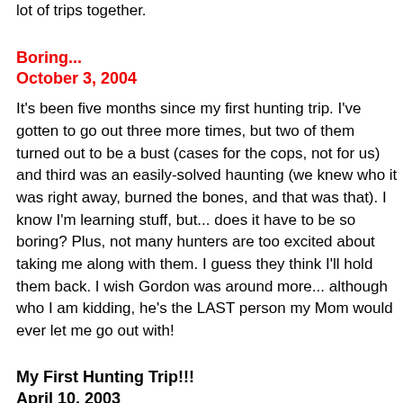lot of trips together.
Boring...
October 3, 2004
It's been five months since my first hunting trip. I've gotten to go out three more times, but two of them turned out to be a bust (cases for the cops, not for us) and third was an easily-solved haunting (we knew who it was right away, burned the bones, and that was that). I know I'm learning stuff, but... does it have to be so boring? Plus, not many hunters are too excited about taking me along with them. I guess they think I'll hold them back. I wish Gordon was around more... although who I am kidding, he's the LAST person my Mom would ever let me go out with!
My First Hunting Trip!!!
April 10, 2003
I'm eighteen now. But, more importantly... I'm officially a hunter! I can call myself that and mean it now... my first hunt was amazing. I went out with Shawn and Jake Reilly. We were investigating a